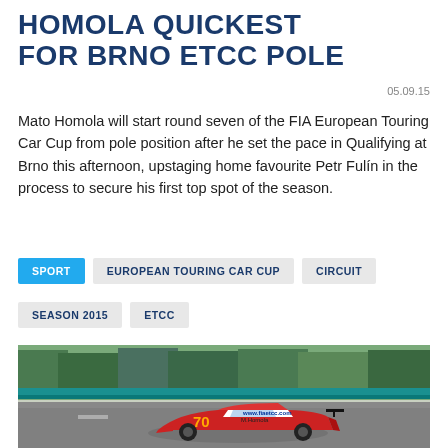HOMOLA QUICKEST FOR BRNO ETCC POLE
05.09.15
Mato Homola will start round seven of the FIA European Touring Car Cup from pole position after he set the pace in Qualifying at Brno this afternoon, upstaging home favourite Petr Fulín in the process to secure his first top spot of the season.
SPORT
EUROPEAN TOURING CAR CUP
CIRCUIT
SEASON 2015
ETCC
[Figure (photo): Racing car number 70 driven by M. Homola on a circuit track, with green trees in the background. The car is red and white with www.fiaetcc.com branding.]